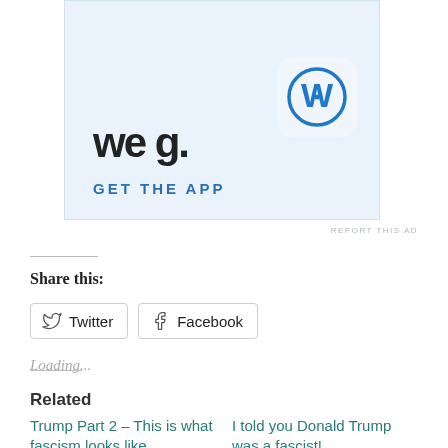[Figure (screenshot): WordPress app advertisement banner with 'GET THE APP' text and WordPress logo icon on a light blue background]
REPORT THIS AD
Share this:
[Figure (screenshot): Social share buttons: Twitter and Facebook]
Loading...
Related
Trump Part 2 – This is what fascism looks like.
I told you Donald Trump was a fascist!